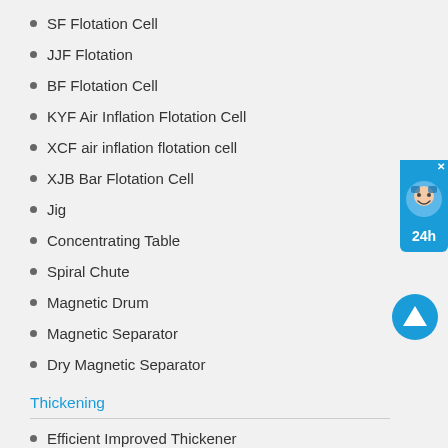SF Flotation Cell
JJF Flotation
BF Flotation Cell
KYF Air Inflation Flotation Cell
XCF air inflation flotation cell
XJB Bar Flotation Cell
Jig
Concentrating Table
Spiral Chute
Magnetic Drum
Magnetic Separator
Dry Magnetic Separator
Thickening
Efficient Improved Thickener
Efficient Thickener
Peripheral Transmission Thickener
Efficient Deep Cone Thickener